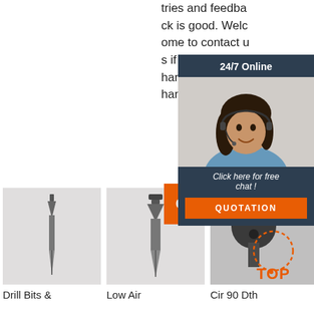tries and feedback is good. Welcome to contact us if you need dth hammer, hammer bits, button bits.
[Figure (infographic): Customer service overlay panel: dark navy background, '24/7 Online' header, photo of smiling woman with headset, 'Click here for free chat!' text, orange QUOTATION button]
[Figure (photo): Drill bit product photo - slim chisel type drill bit against grey background]
[Figure (photo): Low Air drill bit product photo - wider chisel type drill bit against grey background]
[Figure (photo): Cir 90 Dth product photo - round drill bit head with dotted orange circle and TOP badge]
Drill Bits &
Low Air
Cir 90 Dth